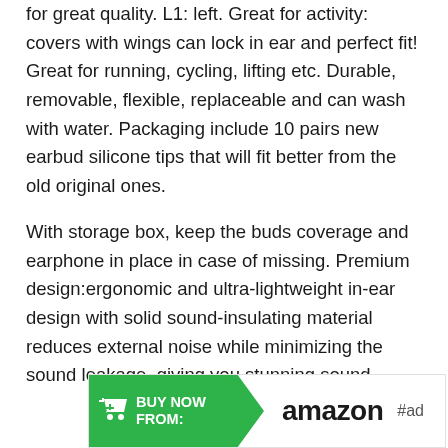for great quality. L1: left. Great for activity: covers with wings can lock in ear and perfect fit! Great for running, cycling, lifting etc. Durable, removable, flexible, replaceable and can wash with water. Packaging include 10 pairs new earbud silicone tips that will fit better from the old original ones.
With storage box, keep the buds coverage and earphone in place in case of missing. Premium design:ergonomic and ultra-lightweight in-ear design with solid sound-insulating material reduces external noise while minimizing the sound leakage, giving you stunning sound.
[Figure (other): Amazon buy now advertisement banner with green arrow button on left showing shopping cart icon and 'BUY NOW FROM:' text, amazon logo in black on white background, and #ad tag on the right]